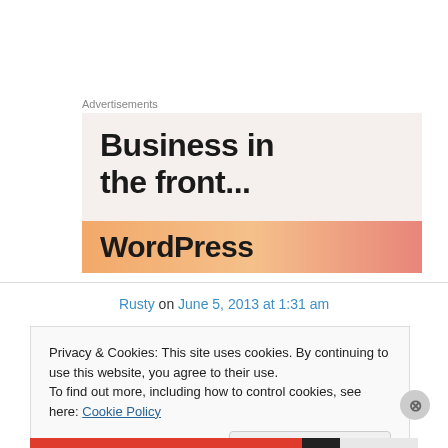Advertisements
[Figure (illustration): WordPress advertisement banner. Top half shows 'Business in the front...' in large bold text on a light beige background. Bottom half shows 'WordPress' text on an orange/salmon gradient banner.]
Rusty on June 5, 2013 at 1:31 am
Privacy & Cookies: This site uses cookies. By continuing to use this website, you agree to their use.
To find out more, including how to control cookies, see here: Cookie Policy
Close and accept